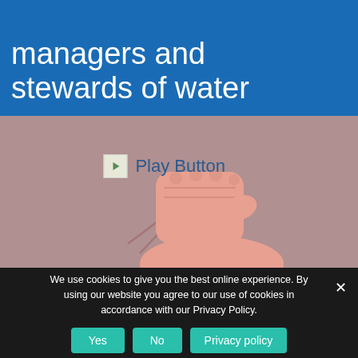managers and stewards of water
[Figure (illustration): Illustration showing a raised fist with motion lines, cartoon style, on a muted mauve/brown background, with a Play Button icon and label overlay]
We use cookies to give you the best online experience. By using our website you agree to our use of cookies in accordance with our Privacy Policy.
Yes | No | Privacy policy